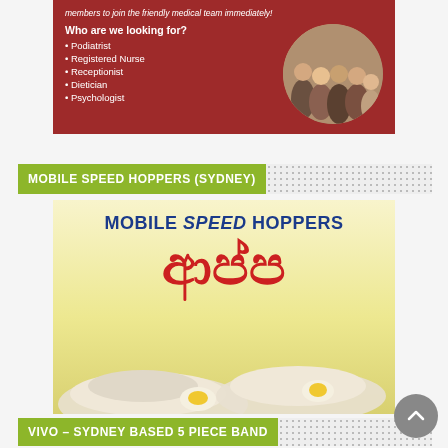[Figure (illustration): Medical team recruitment advertisement on dark red background. Text: 'members to join the friendly medical team immediately!' with bullet list: Who are we looking for? Podiatrist, Registered Nurse, Receptionist, Dietician, Psychologist. Photo of group of medical staff in circular frame on right.]
MOBILE SPEED HOPPERS (SYDNEY)
[Figure (illustration): Mobile Speed Hoppers advertisement with yellow gradient background. Title: MOBILE SPEED HOPPERS in dark blue bold uppercase with SPEED in italic. Large red Sinhala script text below. Bottom shows photo of string hoppers (Sri Lankan food).]
VIVO – SYDNEY BASED 5 PIECE BAND